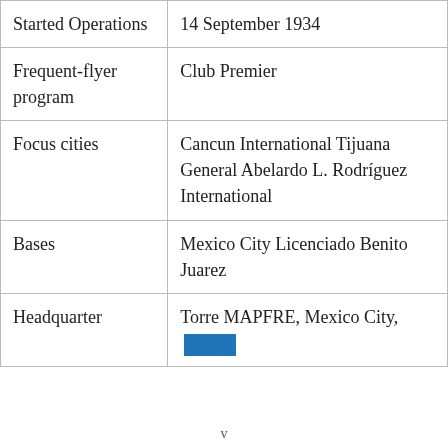| Started Operations | 14 September 1934 |
| Frequent-flyer program | Club Premier |
| Focus cities | Cancun International Tijuana General Abelardo L. Rodríguez International |
| Bases | Mexico City Licenciado Benito Juarez |
| Headquarter | Torre MAPFRE, Mexico City, |